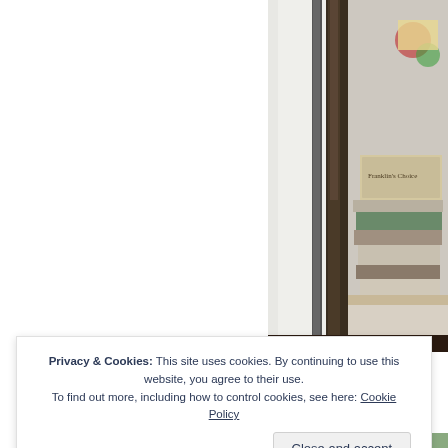[Figure (photo): A partial interior photo showing a tall dark wooden beam or plank leaning against a white wall, with a stack of books and decorative items on a table to the right. The left portion of the image is white/blank.]
Privacy & Cookies: This site uses cookies. By continuing to use this website, you agree to their use. To find out more, including how to control cookies, see here: Cookie Policy
Close and accept